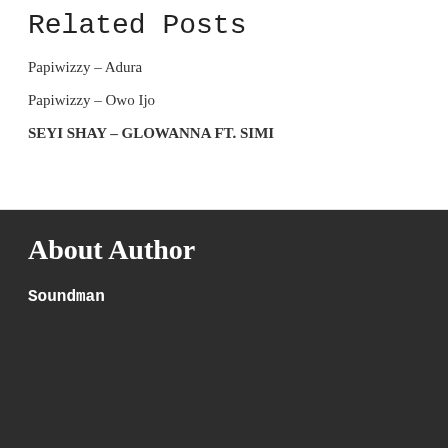Related Posts
Papiwizzy – Adura
Papiwizzy – Owo Ijo
SEYI SHAY – GLOWANNA FT. SIMI
About Author
Soundman